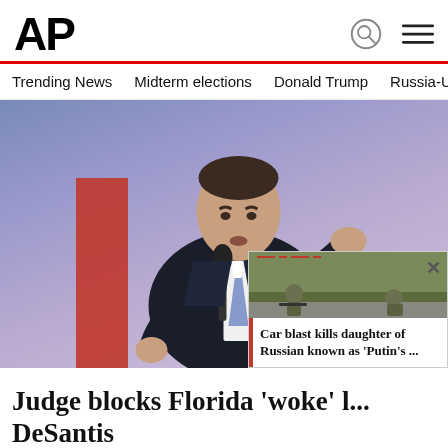AP
Trending News   Midterm elections   Donald Trump   Russia-Ukr
[Figure (photo): Man in dark suit speaking at a podium with a microphone, gesturing with right hand, against a blurred blue/purple background. A red banner is visible behind him. A popup overlay at lower right shows soldiers in an outdoor setting.]
Judge blocks Florida 'woke' l... DeSantis
ST. PETERSBURG, Fla. (AP) — A Flo... declared a Florida law championed by b...
Car blast kills daughter of Russian known as 'Putin's ...